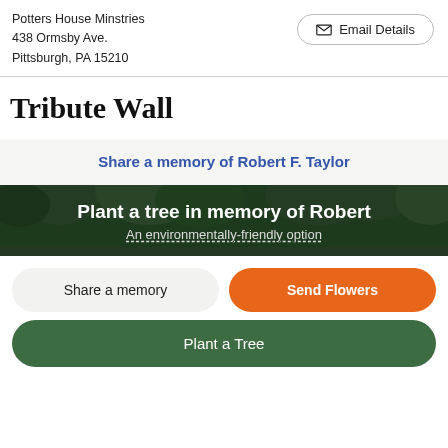Potters House Minstries
438 Ormsby Ave.
Pittsburgh, PA 15210
✉ Email Details
Tribute Wall
Share a memory of Robert F. Taylor
Plant a tree in memory of Robert
An environmentally-friendly option
Share a memory
Send Flowers
Plant a Tree